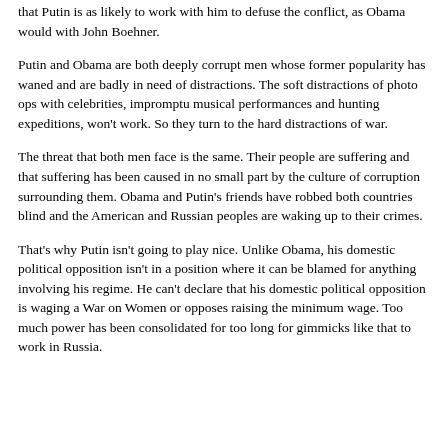that Putin is as likely to work with him to defuse the conflict, as Obama would with John Boehner.
Putin and Obama are both deeply corrupt men whose former popularity has waned and are badly in need of distractions. The soft distractions of photo ops with celebrities, impromptu musical performances and hunting expeditions, won't work. So they turn to the hard distractions of war.
The threat that both men face is the same. Their people are suffering and that suffering has been caused in no small part by the culture of corruption surrounding them. Obama and Putin's friends have robbed both countries blind and the American and Russian peoples are waking up to their crimes.
That's why Putin isn't going to play nice. Unlike Obama, his domestic political opposition isn't in a position where it can be blamed for anything involving his regime. He can't declare that his domestic political opposition is waging a War on Women or opposes raising the minimum wage. Too much power has been consolidated for too long for gimmicks like that to work in Russia.